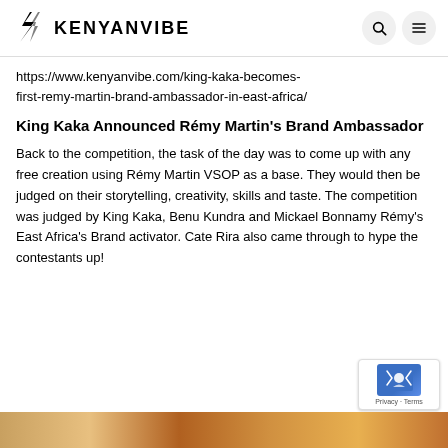KENYANVIBE
https://www.kenyanvibe.com/king-kaka-becomes-first-remy-martin-brand-ambassador-in-east-africa/
King Kaka Announced Rémy Martin's Brand Ambassador
Back to the competition, the task of the day was to come up with any free creation using Rémy Martin VSOP as a base. They would then be judged on their storytelling, creativity, skills and taste. The competition was judged by King Kaka, Benu Kundra and Mickael Bonnamy Rémy's East Africa's Brand activator. Cate Rira also came through to hype the contestants up!
[Figure (photo): Partial bottom image showing people, cropped at bottom of page]